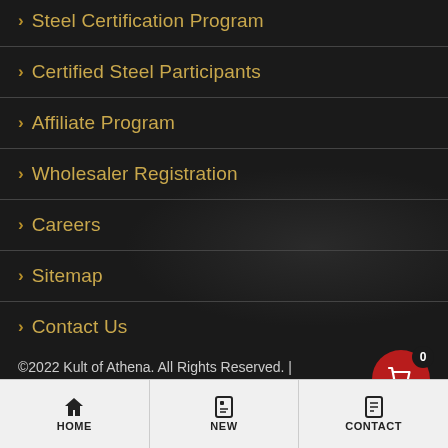> Steel Certification Program
> Certified Steel Participants
> Affiliate Program
> Wholesaler Registration
> Careers
> Sitemap
> Contact Us
©2022 Kult of Athena. All Rights Reserved. | Website Design by Get Sharp, Inc.
HOME | NEW | CONTACT